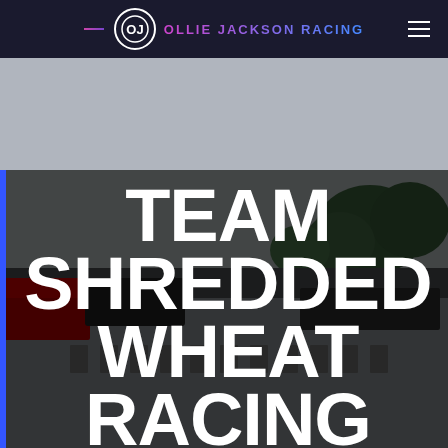OLLIE JACKSON RACING
[Figure (photo): Photograph of a racing pit lane or paddock building with dark overlay, featuring a red racing element visible on the left side. A blue vertical bar is on the left edge. Background shows trees against grey sky.]
TEAM SHREDDED WHEAT RACING WITH